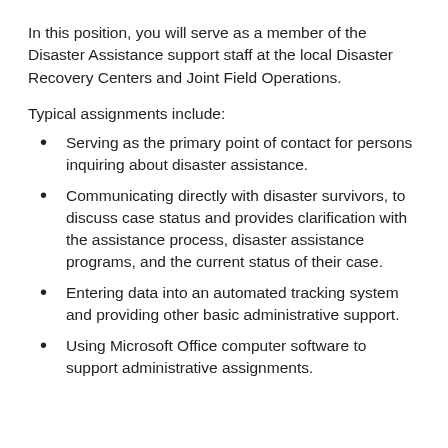In this position, you will serve as a member of the Disaster Assistance support staff at the local Disaster Recovery Centers and Joint Field Operations.
Typical assignments include:
Serving as the primary point of contact for persons inquiring about disaster assistance.
Communicating directly with disaster survivors, to discuss case status and provides clarification with the assistance process, disaster assistance programs, and the current status of their case.
Entering data into an automated tracking system and providing other basic administrative support.
Using Microsoft Office computer software to support administrative assignments.